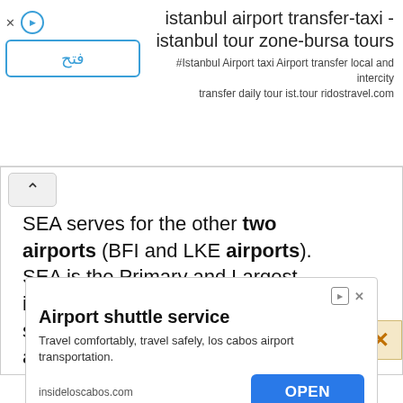[Figure (screenshot): Top advertisement banner for istanbul airport transfer-taxi - istanbul tour zone-bursa tours with Arabic open button and play icon]
SEA serves for the other two airports (BFI and LKE airports). SEA is the Primary and Largest international airport in Seattle and it serves major passengers travelling in and out of the city. BFI is mainly used for domestic
[Figure (screenshot): Bottom advertisement for Airport shuttle service - Travel comfortably, travel safely, los cabos airport transportation. insideloscabos.com with OPEN button]